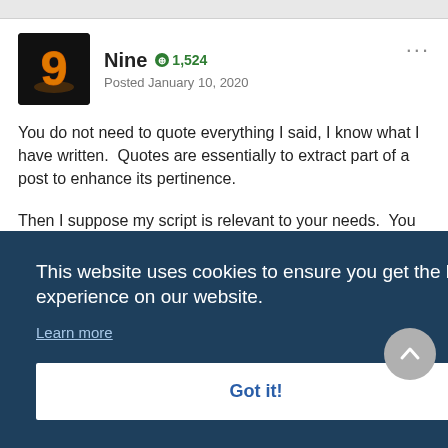[Figure (photo): User avatar for 'Nine' — dark background with glowing number 9 in orange/gold flame style]
Nine  ⊕ 1,524
Posted January 10, 2020
You do not need to quote everything I said, I know what I have written.  Quotes are essentially to extract part of a post to enhance its pertinence.
Then I suppose my script is relevant to your needs.  You just have to modify the arrays to fit it with your excel writes.
This website uses cookies to ensure you get the best experience on our website.
Learn more
Got it!